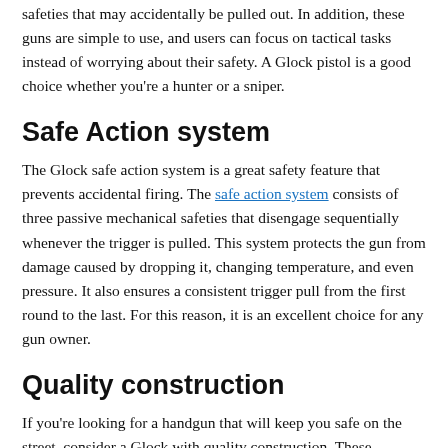safeties that may accidentally be pulled out. In addition, these guns are simple to use, and users can focus on tactical tasks instead of worrying about their safety. A Glock pistol is a good choice whether you're a hunter or a sniper.
Safe Action system
The Glock safe action system is a great safety feature that prevents accidental firing. The safe action system consists of three passive mechanical safeties that disengage sequentially whenever the trigger is pulled. This system protects the gun from damage caused by dropping it, changing temperature, and even pressure. It also ensures a consistent trigger pull from the first round to the last. For this reason, it is an excellent choice for any gun owner.
Quality construction
If you're looking for a handgun that will keep you safe on the street, consider a Glock with quality construction. These